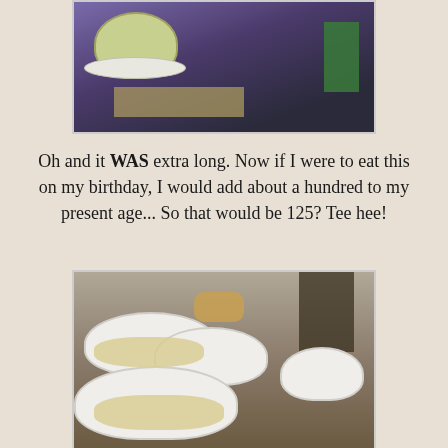[Figure (photo): Photo of a bowl of food (possibly noodles or fried rice) on a plate at a restaurant table, with a menu and a green jacket/bag visible in the background. Purple/dark ambiance.]
Oh and it WAS extra long. Now if I were to eat this on my birthday, I would add about a hundred to my present age... So that would be 125? Tee hee!
[Figure (photo): Photo of multiple white bowls and dishes on a restaurant table, containing noodles and other food items. A dark wooden chair is visible in the background.]